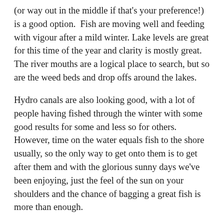(or way out in the middle if that's your preference!) is a good option.  Fish are moving well and feeding with vigour after a mild winter. Lake levels are great for this time of the year and clarity is mostly great.  The river mouths are a logical place to search, but so are the weed beds and drop offs around the lakes.
Hydro canals are also looking good, with a lot of people having fished through the winter with some good results for some and less so for others. However, time on the water equals fish to the shore usually, so the only way to get onto them is to get after them and with the glorious sunny days we've been enjoying, just the feel of the sun on your shoulders and the chance of bagging a great fish is more than enough.
On the river front, take note that the Upper Ohau river above Lake Ruataniwha and below Lake Ohau outlet is opening this season, from October 1st . This is an opportunity to river fish to some extra large trout, which are growing to great size in the hydro canal as they complete their spawning run on the